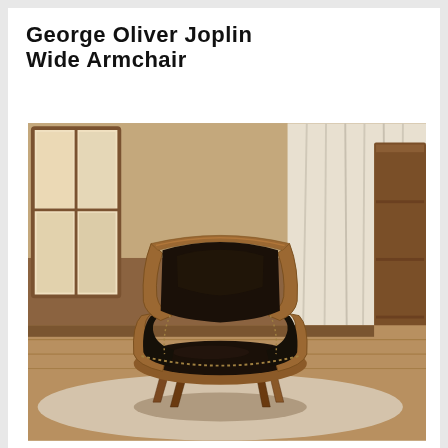George Oliver Joplin Wide Armchair
[Figure (photo): A mid-century modern armchair (George Oliver Joplin Wide Armchair) with a dark brown/black leather-upholstered seat, back, and armrests, with nailhead trim along the edges. The frame and legs are made of warm walnut-toned bentwood. The chair is photographed in a room setting with a wooden window frame, beige wall, cream curtains, and a light-colored area rug.]